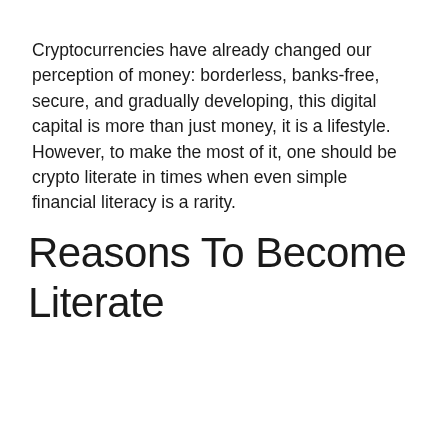Cryptocurrencies have already changed our perception of money: borderless, banks-free, secure, and gradually developing, this digital capital is more than just money, it is a lifestyle. However, to make the most of it, one should be crypto literate in times when even simple financial literacy is a rarity.
Reasons To Become Literate